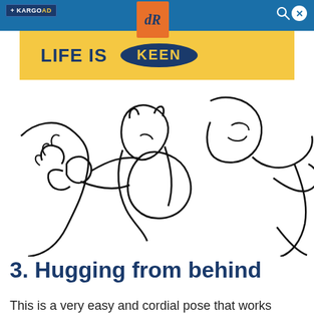+ KARGO AD
[Figure (logo): dR logo in orange square]
[Figure (illustration): Line drawing illustration of two cats hugging/nuzzling from behind, black outlines on white background]
[Figure (other): Advertisement banner: LIFE IS KEEN logo on yellow background]
3. Hugging from behind
This is a very easy and cordial pose that works